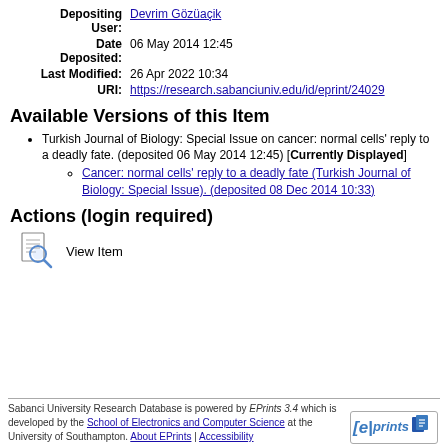| Depositing User: | Devrim Gözüaçik |
| Date Deposited: | 06 May 2014 12:45 |
| Last Modified: | 26 Apr 2022 10:34 |
| URI: | https://research.sabanciuniv.edu/id/eprint/24029 |
Available Versions of this Item
Turkish Journal of Biology: Special Issue on cancer: normal cells' reply to a deadly fate. (deposited 06 May 2014 12:45) [Currently Displayed]
Cancer: normal cells' reply to a deadly fate (Turkish Journal of Biology: Special Issue). (deposited 08 Dec 2014 10:33)
Actions (login required)
[Figure (illustration): View Item icon - magnifying glass over document]
View Item
Sabanci University Research Database is powered by EPrints 3.4 which is developed by the School of Electronics and Computer Science at the University of Southampton. About EPrints | Accessibility